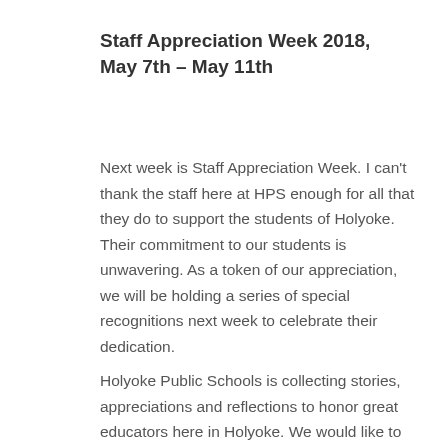Staff Appreciation Week 2018, May 7th – May 11th
Next week is Staff Appreciation Week.  I can't thank the staff here at HPS enough for all that they do to support the students of Holyoke.  Their commitment to our students is unwavering. As a token of our appreciation, we will be holding a series of special recognitions next week to celebrate their dedication.
Holyoke Public Schools is collecting stories, appreciations and reflections to honor great educators here in Holyoke.  We would like to ask